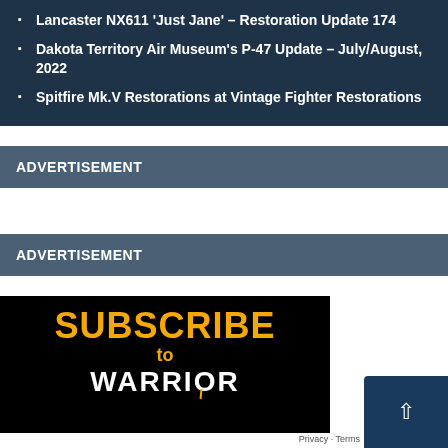Lancaster NX611 ‘Just Jane’ – Restoration Update 174
Dakota Territory Air Museum’s P-47 Update – July/August, 2022
Spitfire Mk.V Restorations at Vintage Fighter Restorations
ADVERTISEMENT
ADVERTISEMENT
[Figure (other): Subscribe to Warrior magazine advertisement banner showing large yellow SUBSCRIBE text, 'to' in yellow, and WARRIOR in white lettering on black background]